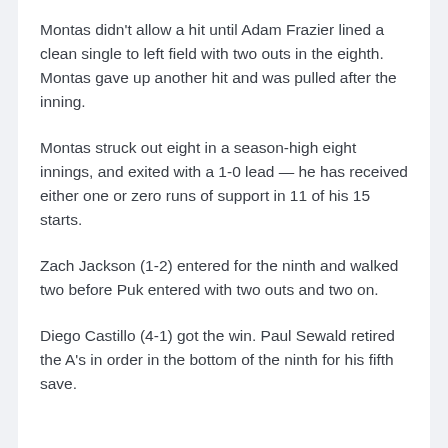Montas didn't allow a hit until Adam Frazier lined a clean single to left field with two outs in the eighth. Montas gave up another hit and was pulled after the inning.
Montas struck out eight in a season-high eight innings, and exited with a 1-0 lead — he has received either one or zero runs of support in 11 of his 15 starts.
Zach Jackson (1-2) entered for the ninth and walked two before Puk entered with two outs and two on.
Diego Castillo (4-1) got the win. Paul Sewald retired the A's in order in the bottom of the ninth for his fifth save.